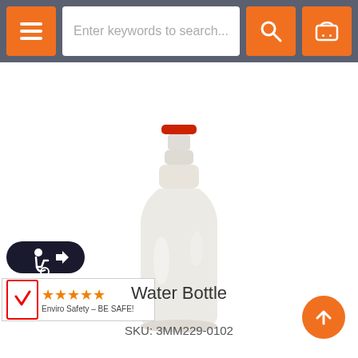[Figure (screenshot): E-commerce website screenshot showing a search bar with placeholder text 'Enter keywords to search...', hamburger menu icon, search icon, and shopping basket icon in an orange and grey navigation bar]
[Figure (photo): Product photo of a translucent plastic water bottle with a red cap and narrow nozzle tip, on white background]
[Figure (logo): Accessibility icon badge (dark oval with wheelchair user symbol)]
[Figure (logo): Enviro Safety star rating badge showing 4 orange stars and text 'Enviro Safety - BE SAFE!']
Water Bottle
SKU: 3MM229-0102